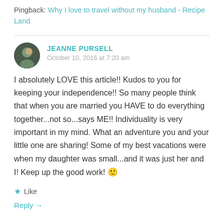Pingback: Why I love to travel without my husband - Recipe Land
JEANNE PURSELL
October 10, 2016 at 7:20 am
I absolutely LOVE this article!! Kudos to you for keeping your independence!! So many people think that when you are married you HAVE to do everything together...not so...says ME!! Individuality is very important in my mind. What an adventure you and your little one are sharing! Some of my best vacations were when my daughter was small...and it was just her and I! Keep up the good work! 🙂
★ Like
Reply →